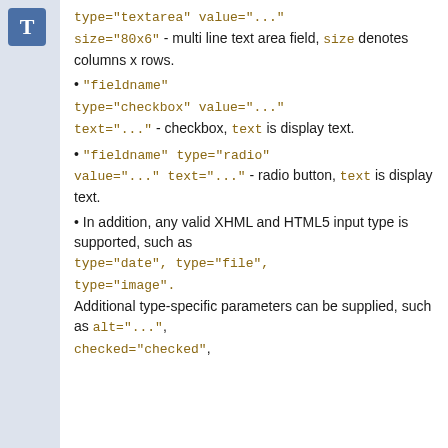[Figure (other): Blue icon with letter T representing a text/form field type]
type="textarea" value="..." size="80x6" - multi line text area field, size denotes columns x rows.
"fieldname" type="checkbox" value="..." text="..." - checkbox, text is display text.
"fieldname" type="radio" value="..." text="..." - radio button, text is display text.
In addition, any valid XHML and HTML5 input type is supported, such as type="date", type="file", type="image". Additional type-specific parameters can be supplied, such as alt="...", checked="checked",